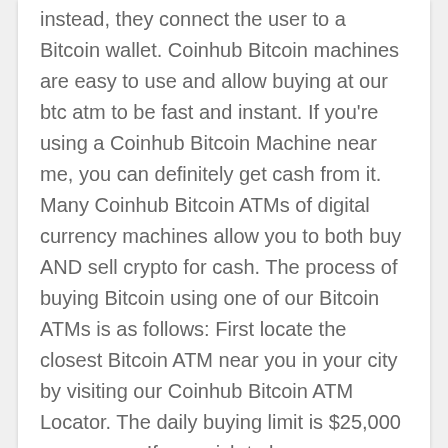instead, they connect the user to a Bitcoin wallet. Coinhub Bitcoin machines are easy to use and allow buying at our btc atm to be fast and instant. If you're using a Coinhub Bitcoin Machine near me, you can definitely get cash from it. Many Coinhub Bitcoin ATMs of digital currency machines allow you to both buy AND sell crypto for cash. The process of buying Bitcoin using one of our Bitcoin ATMs is as follows: First locate the closest Bitcoin ATM near you in your city by visiting our Coinhub Bitcoin ATM Locator. The daily buying limit is $25,000 per person. If you wish to buy more money, please contact us. Coinhub Bitcoin ATMs let you buy bitcoin with cash and get it immediately after purchase at our Bitcoin ATM. Coinhub is the easiest way to buy Bitcoin online or locally. We have Bitcoin Machines conveniently placed throughout the country in major cities! Bitcoin is sent instantly to your wallet upon purchase. For purchases over $2,000.00, all you